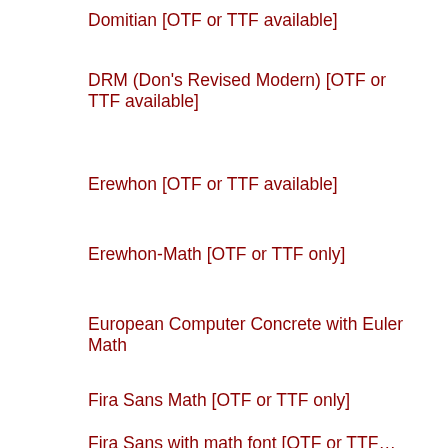Domitian [OTF or TTF available]
DRM (Don's Revised Modern) [OTF or TTF available]
Erewhon [OTF or TTF available]
Erewhon-Math [OTF or TTF only]
European Computer Concrete with Euler Math
Fira Sans Math [OTF or TTF only]
Fira Sans with math font [OTF or TTF…